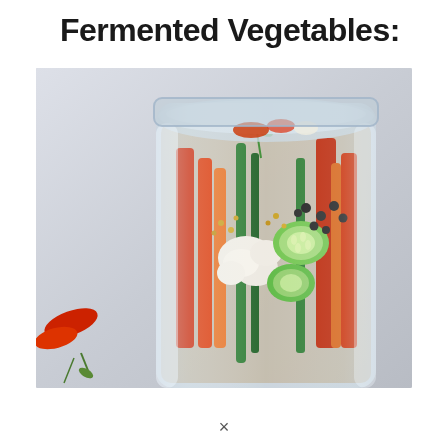Fermented Vegetables:
[Figure (photo): A glass mason jar filled with colorful fermented vegetables including red bell peppers, cucumber slices, cauliflower, carrots, green vegetables, black peppercorns, and mustard seeds in brine. Fresh red pepper and dill visible in foreground. Light wooden background.]
×